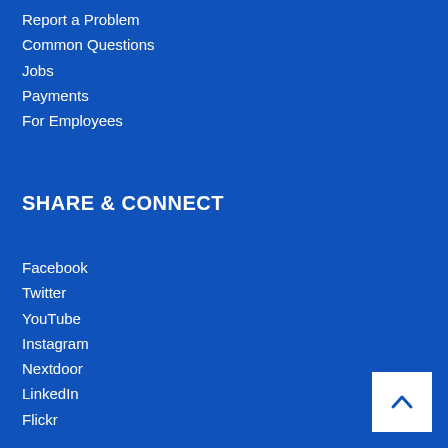Report a Problem
Common Questions
Jobs
Payments
For Employees
SHARE & CONNECT
Facebook
Twitter
YouTube
Instagram
Nextdoor
LinkedIn
Flickr